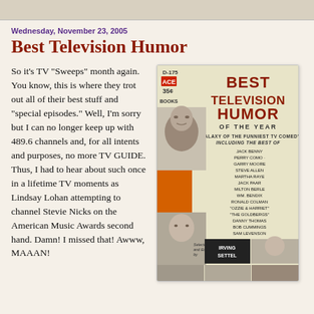Wednesday, November 23, 2005
Best Television Humor
So it's TV "Sweeps" month again. You know, this is where they trot out all of their best stuff and "special episodes." Well, I'm sorry but I can no longer keep up with 489.6 channels and, for all intents and purposes, no more TV GUIDE. Thus, I had to hear about such once in a lifetime TV moments as Lindsay Lohan attempting to channel Stevie Nicks on the American Music Awards second hand. Damn! I missed that! Awww, MAAAN!
[Figure (illustration): Book cover of 'Best Television Humor of the Year' — Ace Books, D-175, 35¢. Red bold title text on cream background. Subtitle: A Galaxy of the Funniest TV Comedy Including the Best of. Lists: Jack Benny, Perry Como, Garry Moore, Steve Allen, Martha Raye, Jack Paar, Milton Berle, Wm. Bendix, Ronald Colman, Ozzie & Harriet, The Goldbergs, Danny Thomas, Bob Cummings, Sam Levenson. Selected and Edited by Irving Settel. Photos of TV personalities on cover.]